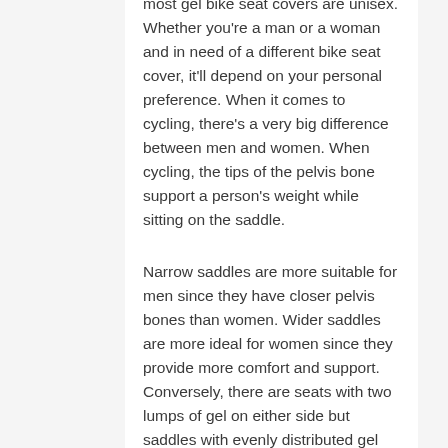most gel bike seat covers are unisex. Whether you're a man or a woman and in need of a different bike seat cover, it'll depend on your personal preference. When it comes to cycling, there's a very big difference between men and women. When cycling, the tips of the pelvis bone support a person's weight while sitting on the saddle.
Narrow saddles are more suitable for men since they have closer pelvis bones than women. Wider saddles are more ideal for women since they provide more comfort and support. Conversely, there are seats with two lumps of gel on either side but saddles with evenly distributed gel provide the best molding.